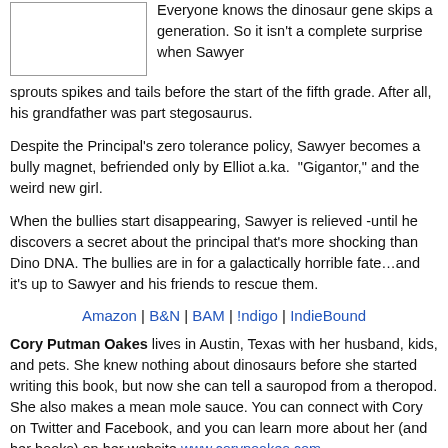[Figure (illustration): Book cover image placeholder (white rectangle with border)]
Everyone knows the dinosaur gene skips a generation. So it isn't a complete surprise when Sawyer sprouts spikes and tails before the start of the fifth grade. After all, his grandfather was part stegosaurus.
Despite the Principal's zero tolerance policy, Sawyer becomes a bully magnet, befriended only by Elliot a.ka. “Gigantor,” and the weird new girl.
When the bullies start disappearing, Sawyer is relieved -until he discovers a secret about the principal that’s more shocking than Dino DNA. The bullies are in for a galactically horrible fate…and it’s up to Sawyer and his friends to rescue them.
Amazon | B&N | BAM | !ndigo | IndieBound
Cory Putman Oakes lives in Austin, Texas with her husband, kids, and pets. She knew nothing about dinosaurs before she started writing this book, but now she can tell a sauropod from a theropod. She also makes a mean mole sauce. You can connect with Cory on Twitter and Facebook, and you can learn more about her (and her books) on her website www.corypoakes.com
Connect with Cory Putman Oakes: Website | Facebook | Twitter | Goodreads